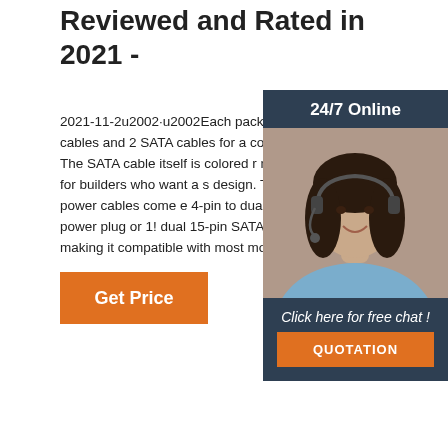Reviewed and Rated in 2021 -
2021-11-2u2002·u2002Each pack includes 2 power cables and 2 SATA cables for a complete solution. The SATA cable itself is colored r making it perfect for builders who want a s design. The included power cables come e 4-pin to dual 15-pin SATA power plug or 1! dual 15-pin SATA power plug, making it compatible with most motherboards, both
[Figure (photo): 24/7 Online chat widget with a woman wearing a headset, dark background with orange QUOTATION button]
Get Price